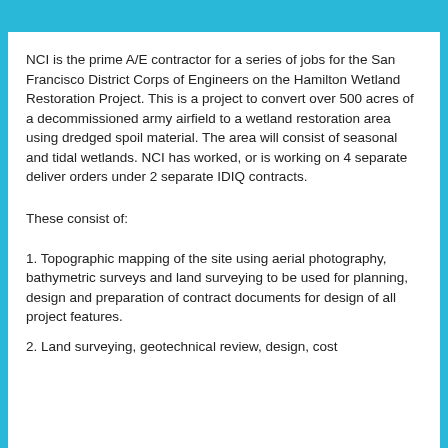NCI is the prime A/E contractor for a series of jobs for the San Francisco District Corps of Engineers on the Hamilton Wetland Restoration Project. This is a project to convert over 500 acres of a decommissioned army airfield to a wetland restoration area using dredged spoil material. The area will consist of seasonal and tidal wetlands. NCI has worked, or is working on 4 separate deliver orders under 2 separate IDIQ contracts.
These consist of:
1. Topographic mapping of the site using aerial photography, bathymetric surveys and land surveying to be used for planning, design and preparation of contract documents for design of all project features.
2. Land surveying, geotechnical review, design, cost